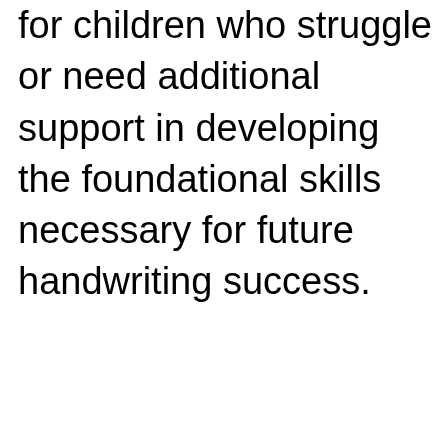for children who struggle or need additional support in developing the foundational skills necessary for future handwriting success.